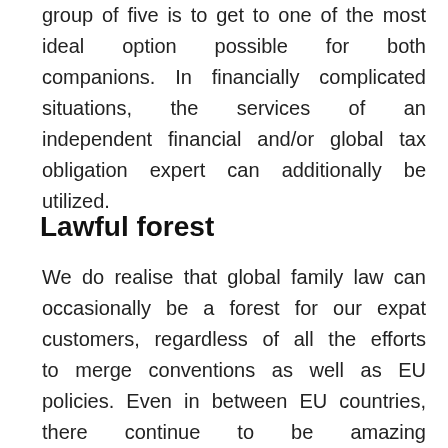group of five is to get to one of the most ideal option possible for both companions. In financially complicated situations, the services of an independent financial and/or global tax obligation expert can additionally be utilized.
Lawful forest
We do realise that global family law can occasionally be a forest for our expat customers, regardless of all the efforts to merge conventions as well as EU policies. Even in between EU countries, there continue to be amazing distinctions in guidelines and also regulations. Not just concerning divorce,